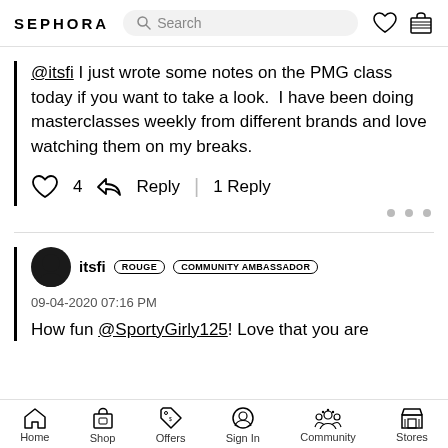SEPHORA  Search
@itsfi I just wrote some notes on the PMG class today if you want to take a look.  I have been doing masterclasses weekly from different brands and love watching them on my breaks.
♡ 4   Reply | 1 Reply
itsfi  ROUGE  COMMUNITY AMBASSADOR
09-04-2020 07:16 PM
How fun @SportyGirly125! Love that you are
Home  Shop  Offers  Sign In  Community  Stores